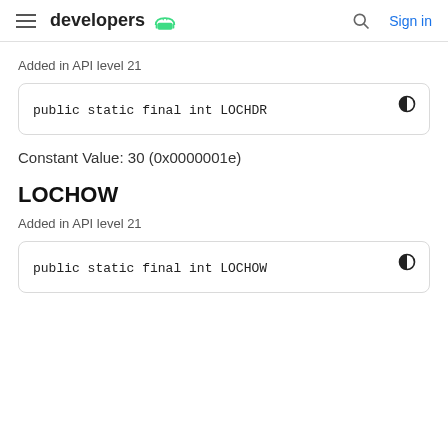developers [android logo] | Search | Sign in
Added in API level 21
public static final int LOCHDR
Constant Value: 30 (0x0000001e)
LOCHOW
Added in API level 21
public static final int LOCHOW